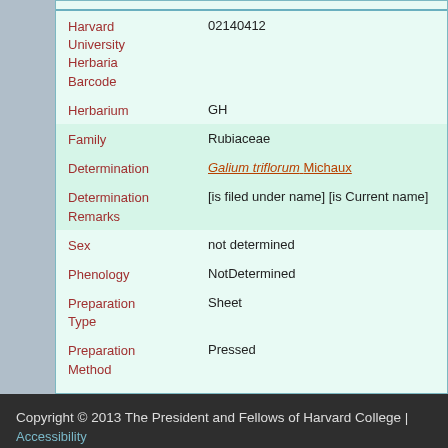| Field | Value |
| --- | --- |
| Harvard University Herbaria Barcode | 02140412 |
| Herbarium | GH |
| Family | Rubiaceae |
| Determination | Galium triflorum Michaux |
| Determination Remarks | [is filed under name] [is Current name] |
| Sex | not determined |
| Phenology | NotDetermined |
| Preparation Type | Sheet |
| Preparation Method | Pressed |
Copyright © 2013 The President and Fellows of Harvard College | Accessibility